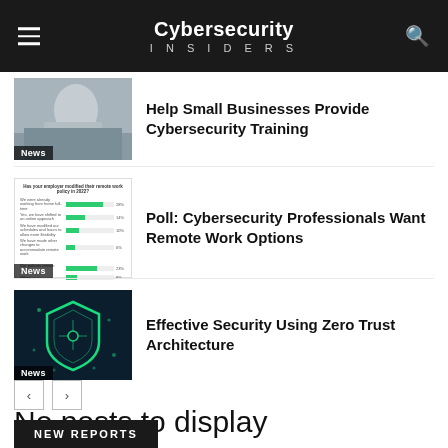Cybersecurity INSIDERS
Help Small Businesses Provide Cybersecurity Training
Poll: Cybersecurity Professionals Want Remote Work Options
Effective Security Using Zero Trust Architecture
No posts to display
NEW REPORTS